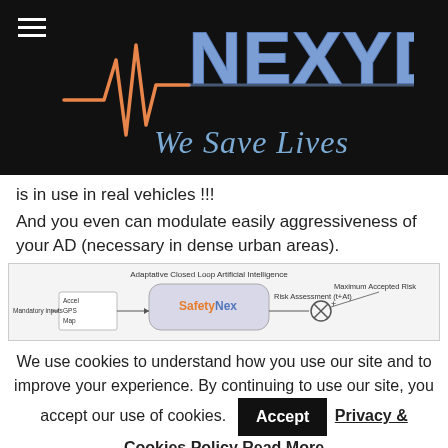[Figure (logo): NEXYD logo with heartbeat/ECG waveline graphic in orange and blue-purple lettering on black background, with tagline 'We Save Lives' in blue-purple italic below]
is in use in real vehicles !!!
And you even can modulate easily aggressiveness of your AD (necessary in dense urban areas).
[Figure (schematic): Diagram showing 'Adaptative Closed Loop Artificial Intelligence' with SafetyNex block, Mandatory Inputs (Accel, GPS, Map), and Risk Assessment (t+At) output with Maximum Accepted Risk label]
We use cookies to understand how you use our site and to improve your experience. By continuing to use our site, you accept our use of cookies. Accept Privacy & Cookies Policy Read More